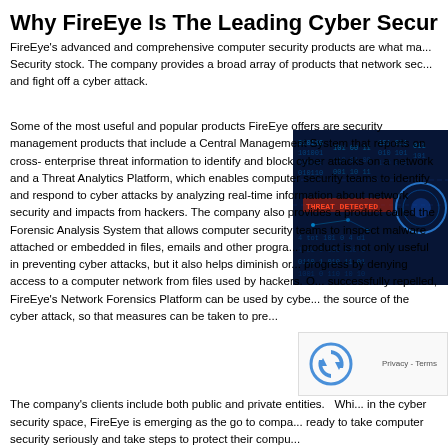Why FireEye Is The Leading Cyber Securi...
FireEye's advanced and comprehensive computer security products are what ma... Security stock. The company provides a broad array of products that network sec... and fight off a cyber attack.
Some of the most useful and popular products FireEye offers are security management products that include a Central Management System that reports on cross-enterprise threat information to identify and block cyber attacks on a network and a Threat Analytics Platform, which enables computer security teams to identify and respond to cyber attacks by analyzing real-time information about network security and impacts from hackers. The company also provides a product called the Forensic Analysis System that allows computer security teams to inspect malware attached or embedded in files, emails and other progra... product is not only useful in preventing cyber attacks, but it also helps diminish or... progress by denying access to a computer network from files used by hackers. O... successfully repelled, FireEye's Network Forensics Platform can be used by cybe... the source of the cyber attack, so that measures can be taken to pre...
[Figure (photo): Dark blue cybersecurity digital background with glowing matrix code and circuit patterns]
The company's clients include both public and private entities.   Whi... in the cyber security space, FireEye is emerging as the go to compa... ready to take computer security seriously and take steps to protect their compu...